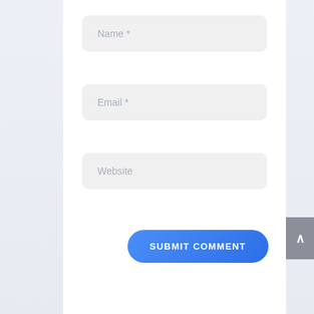Name *
Email *
Website
SUBMIT COMMENT